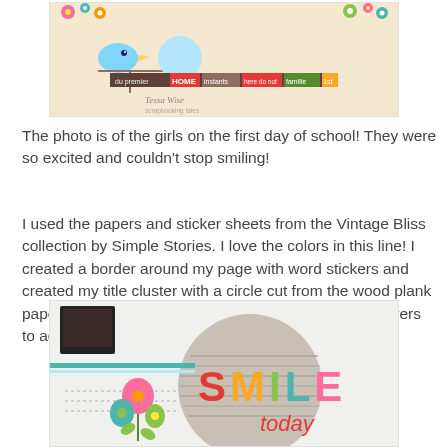[Figure (photo): A scrapbook layout showing girls on the first day of school, with colorful borders featuring flowers and decorative word stickers. Designer name 'Tessa Wise' visible.]
The photo is of the girls on the first day of school!  They were so excited and couldn't stop smiling!
I used the papers and sticker sheets from the Vintage Bliss collection by Simple Stories.  I love the colors in this line!  I created a border around my page with word stickers and created my title cluster with a circle cut from the wood plank paper and stickers.  I powdered and popped up the flowers to add a little depth.
[Figure (photo): Close-up of a scrapbook page showing a circular wood plank paper cutout with colorful block letters spelling 'SMILE today' and decorative flower stickers in pink, teal, orange, and green.]